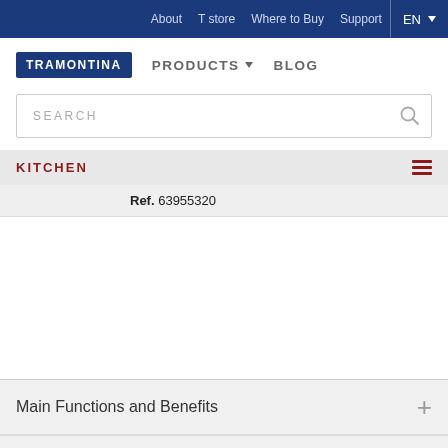About   T store   Where to Buy   Support   EN
[Figure (logo): Tramontina logo in blue rectangle]
PRODUCTS ▼   BLOG
SEARCH
KITCHEN
Ref. 63955320
Main Functions and Benefits
Recommendations for Use